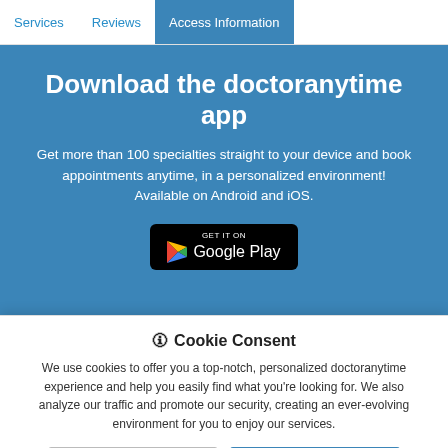Services | Reviews | Access Information
Download the doctoranytime app
Get more than 100 specialties straight to your device and book appointments anytime, in a personalized environment! Available on Android and iOS.
[Figure (logo): Google Play Store badge — GET IT ON Google Play]
🛈 Cookie Consent
We use cookies to offer you a top-notch, personalized doctoranytime experience and help you easily find what you're looking for. We also analyze our traffic and promote our security, creating an ever-evolving environment for you to enjoy our services.
No, customize settings | Yes, accept cookies